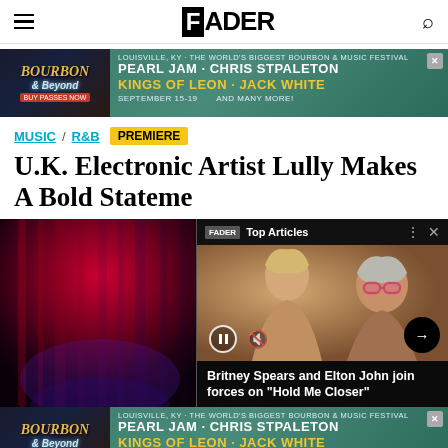THE FADER
[Figure (screenshot): Bourbon & Beyond festival advertisement banner: Pearl Jam, Chris Stpaleton, Kings of Leon, Jack White - September 15-19]
MUSIC / R&B  PREMIERE
U.K. Electronic Artist Lully Makes A Bold Statement
[Figure (photo): Left: dark red curtain/abstract photo. Right: Video popup overlay showing two people (Britney Spears and Elton John) with Top Articles label and video controls]
Britney Spears and Elton John join forces on “Hold Me Closer”
[Figure (screenshot): Bourbon & Beyond festival advertisement banner at bottom: Pearl Jam, Chris Stpaleton, Kings of Leon, Jack White - September 15-19]